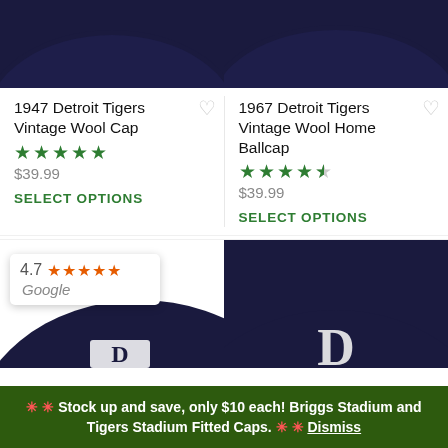[Figure (photo): Top portions of two navy blue baseball caps cropped at the top of the page, side by side]
1947 Detroit Tigers Vintage Wool Cap
★★★★★ $39.99 SELECT OPTIONS
1967 Detroit Tigers Vintage Wool Home Ballcap
★★★★½ $39.99 SELECT OPTIONS
[Figure (photo): Bottom portion of two navy blue Detroit Tigers fitted baseball caps, left one partially obscured by a Google review badge showing 4.7 stars]
4.7 ★★★★★ Google
🔴 🔴 Stock up and save, only $10 each! Briggs Stadium and Tigers Stadium Fitted Caps. 🔴 🔴 Dismiss